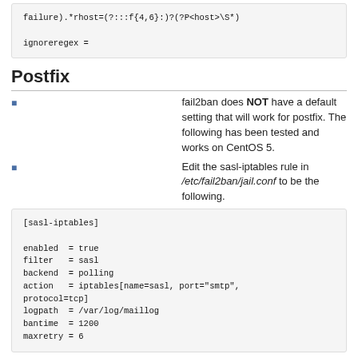failure).*rhost=(?:::f{4,6}:)?(?P<host>\S*)

ignoreregex =
Postfix
fail2ban does NOT have a default setting that will work for postfix. The following has been tested and works on CentOS 5.
Edit the sasl-iptables rule in /etc/fail2ban/jail.conf to be the following.
[sasl-iptables]

enabled  = true
filter   = sasl
backend  = polling
action   = iptables[name=sasl, port="smtp",
protocol=tcp]
logpath  = /var/log/maillog
bantime  = 1200
maxretry = 6
Next edit /etc/fail2ban/filter.d/sasl.conf to have the follow regex
failregex = warning: [-._\w]+\[<HOST>\]: SASL
(?:LOGIN|login|PLAIN|plain|(?:CRAM|DIGEST)-MD5)
authentication failed.*$